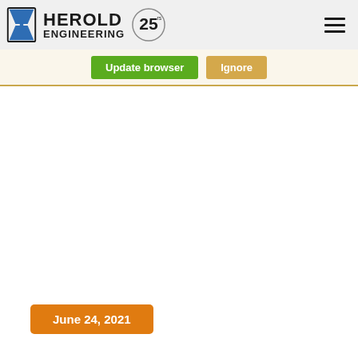HEROLD ENGINEERING — 25 years logo and hamburger menu
Update browser | Ignore
June 24, 2021